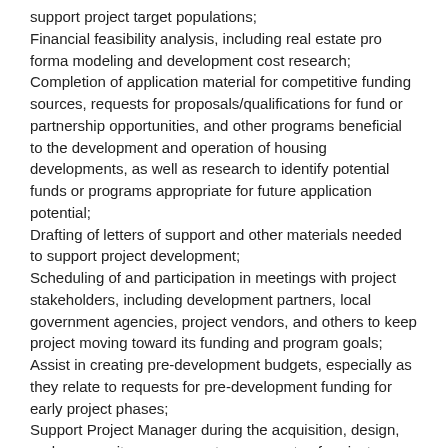support project target populations;
Financial feasibility analysis, including real estate pro forma modeling and development cost research;
Completion of application material for competitive funding sources, requests for proposals/qualifications for fund or partnership opportunities, and other programs beneficial to the development and operation of housing developments, as well as research to identify potential funds or programs appropriate for future application potential;
Drafting of letters of support and other materials needed to support project development;
Scheduling of and participation in meetings with project stakeholders, including development partners, local government agencies, project vendors, and others to keep project moving toward its funding and program goals;
Assist in creating pre-development budgets, especially as they relate to requests for pre-development funding for early project phases;
Support Project Manager during the acquisition, design, and community engagement components of projects;